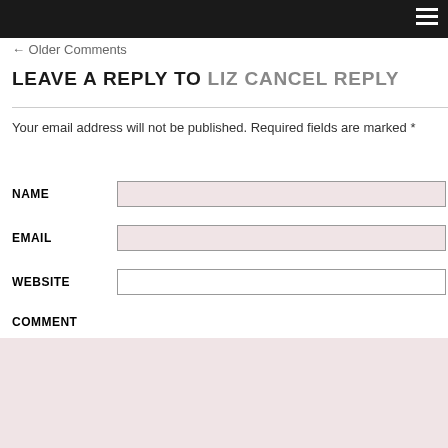← Older Comments
LEAVE A REPLY TO LIZ CANCEL REPLY
Your email address will not be published. Required fields are marked *
NAME
EMAIL
WEBSITE
COMMENT